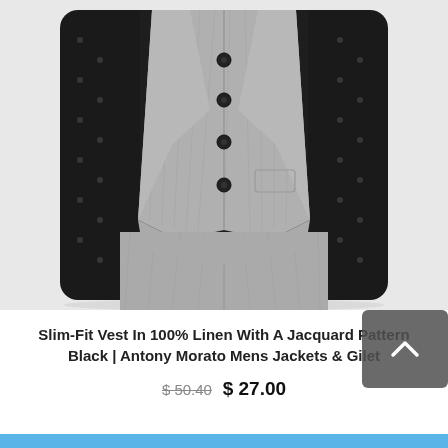[Figure (photo): A man wearing a slim-fit grey linen vest/waistcoat with black buttons over a black dotted shirt, paired with matching grey linen trousers. The photo shows the torso and legs, on a white background.]
Slim-Fit Vest In 100% Linen With A Jacquard Pattern Black | Antony Morato Mens Jackets & Gilet
$ 50.40  $ 27.00